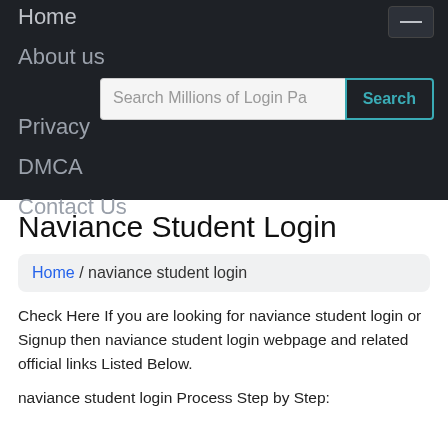Home  About us  Privacy  DMCA  Contact Us
Search Millions of Login Pa... Search
Naviance Student Login
Home / naviance student login
Check Here If you are looking for naviance student login or Signup then naviance student login webpage and related official links Listed Below.
naviance student login Process Step by Step: